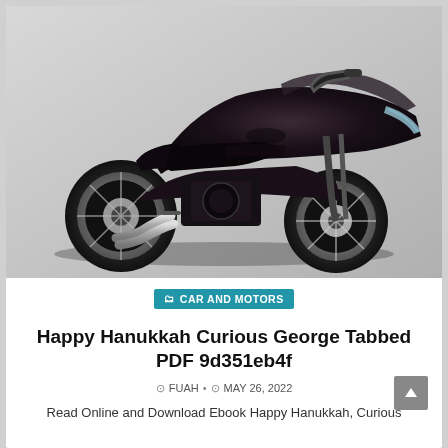[Figure (photo): Dark black Honda touring/sport motorcycle photographed on a light grey background, angled three-quarter front view showing full bike with chrome accents and dual exhaust]
CAR AND MOTORS
Happy Hanukkah Curious George Tabbed PDF 9d351eb4f
FUAH • MAY 26, 2022
Read Online and Download Ebook Happy Hanukkah, Curious